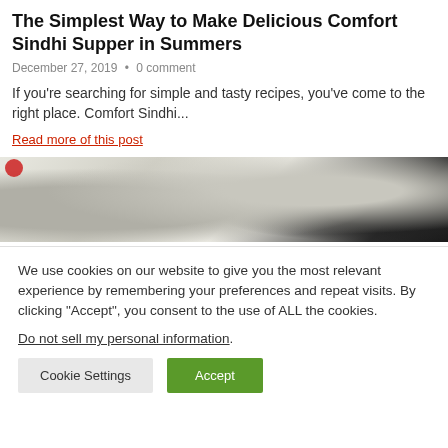The Simplest Way to Make Delicious Comfort Sindhi Supper in Summers
December 27, 2019  •  0 comment
If you're searching for simple and tasty recipes, you've come to the right place. Comfort Sindhi...
Read more of this post
[Figure (photo): Close-up food photo showing flatbread/dough on a dark surface with a red element visible in the top-left corner]
We use cookies on our website to give you the most relevant experience by remembering your preferences and repeat visits. By clicking "Accept", you consent to the use of ALL the cookies.
Do not sell my personal information.
Cookie Settings  Accept